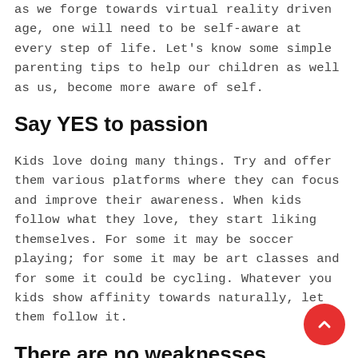as we forge towards virtual reality driven age, one will need to be self-aware at every step of life. Let's know some simple parenting tips to help our children as well as us, become more aware of self.
Say YES to passion
Kids love doing many things. Try and offer them various platforms where they can focus and improve their awareness. When kids follow what they love, they start liking themselves. For some it may be soccer playing; for some it may be art classes and for some it could be cycling. Whatever you kids show affinity towards naturally, let them follow it.
There are no weaknesses